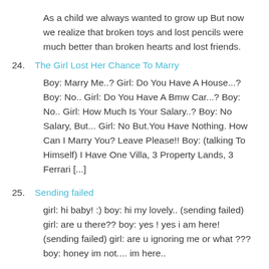As a child we always wanted to grow up But now we realize that broken toys and lost pencils were much better than broken hearts and lost friends.
24. The Girl Lost Her Chance To Marry
Boy: Marry Me..? Girl: Do You Have A House...? Boy: No.. Girl: Do You Have A Bmw Car...? Boy: No.. Girl: How Much Is Your Salary..? Boy: No Salary, But... Girl: No But.You Have Nothing. How Can I Marry You? Leave Please!! Boy: (talking To Himself) I Have One Villa, 3 Property Lands, 3 Ferrari [...]
25. Sending failed
girl: hi baby! :) boy: hi my lovely.. (sending failed) girl: are u there?? boy: yes ! yes i am here! (sending failed) girl: are u ignoring me or what ??? boy: honey im not.... im here..